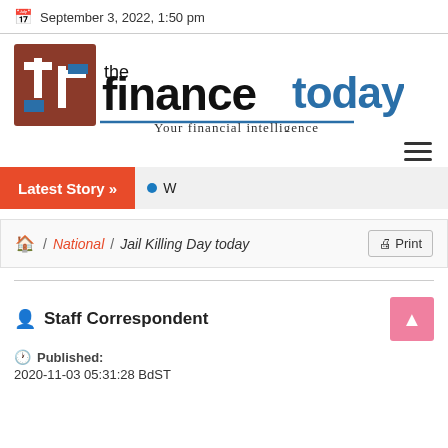September 3, 2022, 1:50 pm
[Figure (logo): The Finance Today logo — red/brown square icon with 'ft' letters on left, bold black 'the finance' and blue 'today' text, tagline 'Your financial intelligence']
Latest Story »
/ National / Jail Killing Day today   Print
Staff Correspondent
Published:
2020-11-03 05:31:28 BdST